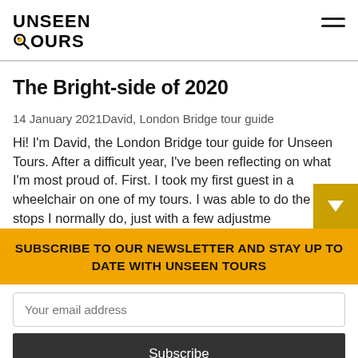UNSEEN TOURS
The Bright-side of 2020
14 January 2021David, London Bridge tour guide
Hi! I'm David, the London Bridge tour guide for Unseen Tours. After a difficult year, I've been reflecting on what I'm most proud of. First. I took my first guest in a wheelchair on one of my tours. I was able to do the stops I normally do, just with a few adjustme
SUBSCRIBE TO OUR NEWSLETTER AND STAY UP TO DATE WITH UNSEEN TOURS
Your email address
Subscribe